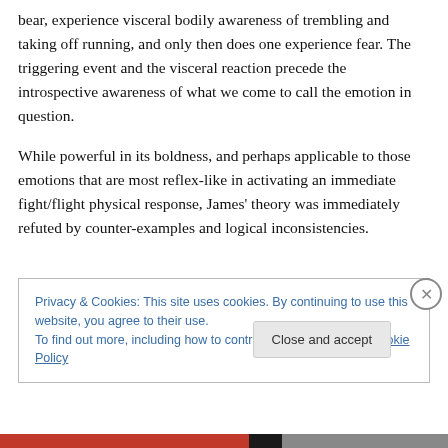bear, experience visceral bodily awareness of trembling and taking off running, and only then does one experience fear. The triggering event and the visceral reaction precede the introspective awareness of what we come to call the emotion in question.
While powerful in its boldness, and perhaps applicable to those emotions that are most reflex-like in activating an immediate fight/flight physical response, James' theory was immediately refuted by counter-examples and logical inconsistencies.
Privacy & Cookies: This site uses cookies. By continuing to use this website, you agree to their use.
To find out more, including how to control cookies, see here: Cookie Policy
Close and accept